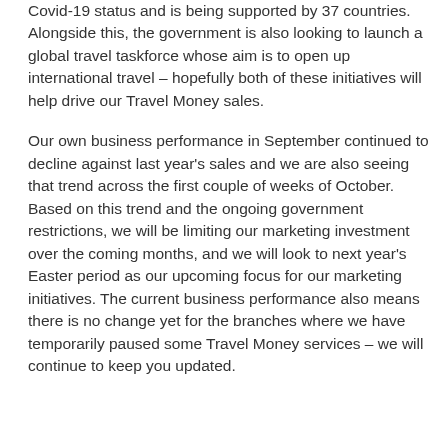Covid-19 status and is being supported by 37 countries. Alongside this, the government is also looking to launch a global travel taskforce whose aim is to open up international travel – hopefully both of these initiatives will help drive our Travel Money sales.
Our own business performance in September continued to decline against last year's sales and we are also seeing that trend across the first couple of weeks of October. Based on this trend and the ongoing government restrictions, we will be limiting our marketing investment over the coming months, and we will look to next year's Easter period as our upcoming focus for our marketing initiatives. The current business performance also means there is no change yet for the branches where we have temporarily paused some Travel Money services – we will continue to keep you updated.